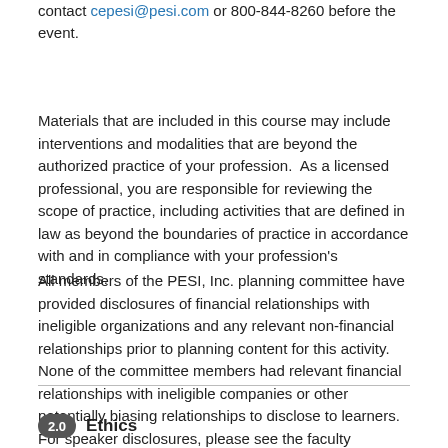contact cepesi@pesi.com or 800-844-8260 before the event.
Materials that are included in this course may include interventions and modalities that are beyond the authorized practice of your profession.  As a licensed professional, you are responsible for reviewing the scope of practice, including activities that are defined in law as beyond the boundaries of practice in accordance with and in compliance with your profession's standards.
All members of the PESI, Inc. planning committee have provided disclosures of financial relationships with ineligible organizations and any relevant non-financial relationships prior to planning content for this activity. None of the committee members had relevant financial relationships with ineligible companies or other potentially biasing relationships to disclose to learners.  For speaker disclosures, please see the faculty biography.
2.0  Ethics